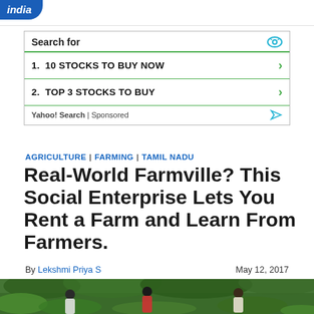india
[Figure (screenshot): Advertisement box with 'Search for' header, two items: 1. 10 STOCKS TO BUY NOW, 2. TOP 3 STOCKS TO BUY, and Yahoo! Search | Sponsored footer]
AGRICULTURE | FARMING | TAMIL NADU
Real-World Farmville? This Social Enterprise Lets You Rent a Farm and Learn From Farmers.
By Lekshmi Priya S   May 12, 2017
[Figure (photo): Photo of people working in a farm with banana trees and lush green vegetation]